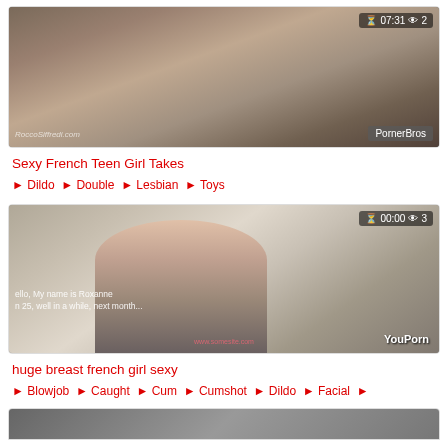[Figure (screenshot): Video thumbnail showing adult content with timer overlay '07:31' and view count '2', watermark 'PornerBros', site watermark 'RoccoSiffredi.com']
Sexy French Teen Girl Takes ♦ Dildo ♦ Double ♦ Lesbian ♦ Toys
[Figure (screenshot): Video thumbnail showing adult content with timer overlay '00:00' and view count '3', watermark 'YouPorn', subtitle text 'Hello, My name is Roxanne, I'm 25, well in a while, next month...']
huge breast french girl sexy ♦ Blowjob ♦ Caught ♦ Cum ♦ Cumshot ♦ Dildo ♦ Facial ♦